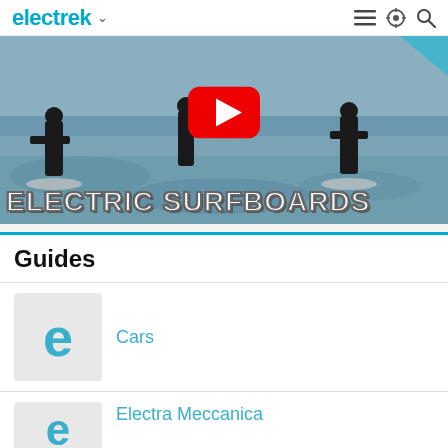electrek
[Figure (screenshot): Video thumbnail showing people in water with electric surfboards, with a YouTube play button overlay and bold text reading 'ELECTRIC SURFBOARDS']
Guides
Cars
Electra Meccanica